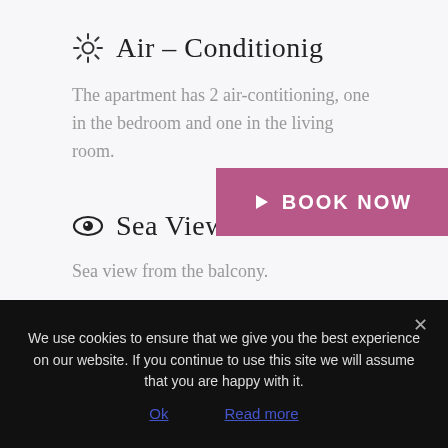✦ Air – Conditionig
The apartment has 2 air-contitioning, one in the bedroom and one in the living room.
[Figure (other): Pink 'BOOK NOW' button with right-pointing arrow triangle]
👁 Sea View
Sea view from the balcony.
We use cookies to ensure that we give you the best experience on our website. If you continue to use this site we will assume that you are happy with it.
Ok   Read more